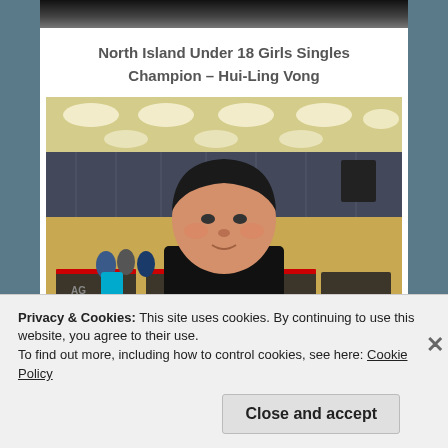[Figure (photo): Top portion of a photo (cropped at top edge), appearing to show a dark-clothed figure. Indoor sports hall setting.]
North Island Under 18 Girls Singles Champion – Hui-Ling Vong
[Figure (photo): Photo of Hui-Ling Vong, a young person with dark hair in a bowl cut, wearing a black shirt, standing in an indoor table tennis hall with ceiling lights, blue curtains, and table tennis tables in the background. Other players visible in the background.]
Privacy & Cookies: This site uses cookies. By continuing to use this website, you agree to their use.
To find out more, including how to control cookies, see here: Cookie Policy
Close and accept